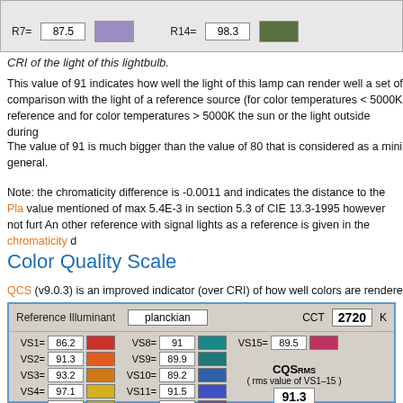[Figure (other): Color rendering index panel showing R7=87.5 with purple swatch and R14=98.3 with green swatch]
CRI of the light of this lightbulb.
This value of 91 indicates how well the light of this lamp can render well a set of comparison with the light of a reference source (for color temperatures < 5000K reference and for color temperatures > 5000K the sun or the light outside during
The value of 91 is much bigger than the value of 80 that is considered as a mini general.
Note: the chromaticity difference is -0.0011 and indicates the distance to the Pla value mentioned of max 5.4E-3 in section 5.3 of CIE 13.3-1995 however not furt An other reference with signal lights as a reference is given in the chromaticity d
Color Quality Scale
QCS (v9.0.3) is an improved indicator (over CRI) of how well colors are rendere
[Figure (other): Color Quality Scale panel showing Reference Illuminant: planckian, CCT: 2720 K, VS1=86.2, VS2=91.3, VS3=93.2, VS4=97.1, VS5=96.9, VS8=91, VS9=89.9, VS10=89.2, VS11=91.5, VS12=99.4, VS15=89.5, CQS RMS (rms value of VS1-15) = 91.3]